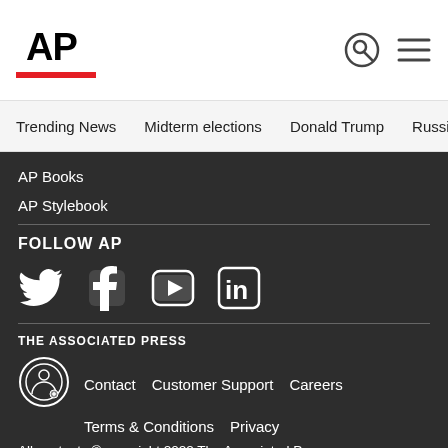AP
Trending News   Midterm elections   Donald Trump   Russia-Ukr
AP Books
AP Stylebook
FOLLOW AP
[Figure (other): Social media icons: Twitter, Facebook, YouTube, LinkedIn]
THE ASSOCIATED PRESS
Contact   Customer Support   Careers
Terms & Conditions   Privacy
All contents © copyright 2022 The Associated Press.